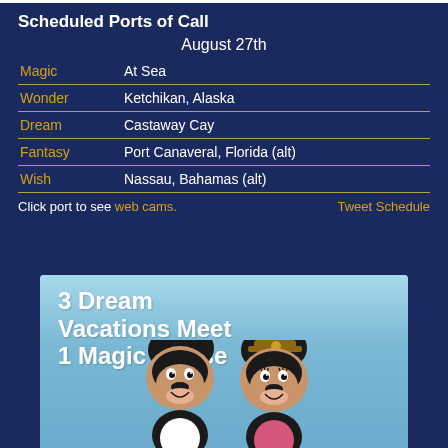Scheduled Ports of Call
August 27th
| Ship | Port |
| --- | --- |
| Magic | At Sea |
| Wonder | Ketchikan, Alaska |
| Dream | Castaway Cay |
| Fantasy | Port Canaveral, Florida (alt) |
| Wish | Nassau, Bahamas (alt) |
Click port to see web cams. Tweet Schedule
[Figure (illustration): Advertisement banner with light blue background showing '3 Dream Vacations Meet 1 Magic Cruise' text and Mickey and Minnie Mouse cartoon heads at the bottom]